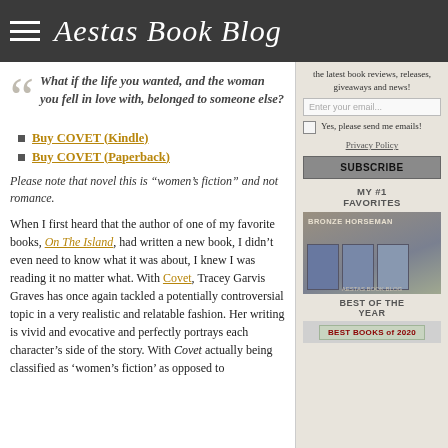Aestas Book Blog
What if the life you wanted, and the woman you fell in love with, belonged to someone else?
Buy COVET (Kindle)
Buy COVET (Paperback)
Please note that novel this is “women’s fiction” and not romance.
When I first heard that the author of one of my favorite books, On The Island, had written a new book, I didn’t even need to know what it was about, I knew I was reading it no matter what. With Covet, Tracey Garvis Graves has once again tackled a potentially controversial topic in a very realistic and relatable fashion. Her writing is vivid and evocative and perfectly portrays each character’s side of the story. With Covet actually being classified as ‘women’s fiction’ as opposed to
the latest book reviews, releases, giveaways and news!
Enter your email...
Yes, please send me emails!
Privacy Policy
SUBSCRIBE
MY #1 FAVORITES
[Figure (photo): Bronze Horseman book covers]
BEST OF THE YEAR
[Figure (photo): Best Books of 2020 banner]